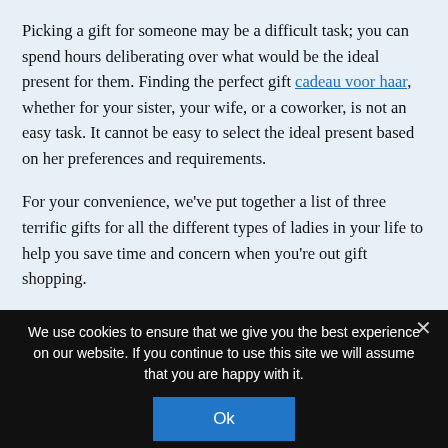Picking a gift for someone may be a difficult task; you can spend hours deliberating over what would be the ideal present for them. Finding the perfect gift cadeau voor haar, whether for your sister, your wife, or a coworker, is not an easy task. It cannot be easy to select the ideal present based on her preferences and requirements.
For your convenience, we've put together a list of three terrific gifts for all the different types of ladies in your life to help you save time and concern when you're out gift shopping.
We use cookies to ensure that we give you the best experience on our website. If you continue to use this site we will assume that you are happy with it.